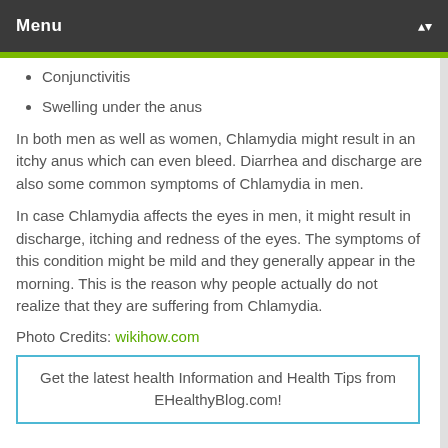Menu
Conjunctivitis
Swelling under the anus
In both men as well as women, Chlamydia might result in an itchy anus which can even bleed. Diarrhea and discharge are also some common symptoms of Chlamydia in men.
In case Chlamydia affects the eyes in men, it might result in discharge, itching and redness of the eyes. The symptoms of this condition might be mild and they generally appear in the morning. This is the reason why people actually do not realize that they are suffering from Chlamydia.
Photo Credits: wikihow.com
Get the latest health Information and Health Tips from EHealthyBlog.com!